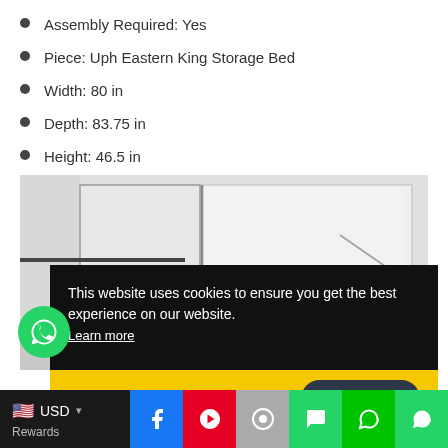Assembly Required: Yes
Piece: Uph Eastern King Storage Bed
Width: 80 in
Depth: 83.75 in
Height: 46.5 in
[Figure (photo): Close-up photo of an upholstered bed headboard, light grey/white fabric with metal frame accents visible]
This website uses cookies to ensure you get the best experience on our website. Learn more
Got it!   Chat with us
[Figure (logo): WhatsApp circular green icon button]
USD   Rewards